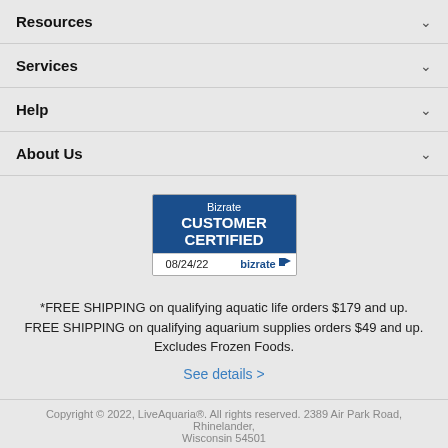Resources
Services
Help
About Us
[Figure (logo): Bizrate Customer Certified badge dated 08/24/22]
*FREE SHIPPING on qualifying aquatic life orders $179 and up. FREE SHIPPING on qualifying aquarium supplies orders $49 and up. Excludes Frozen Foods.
See details >
Copyright © 2022, LiveAquaria®. All rights reserved. 2389 Air Park Road, Rhinelander, Wisconsin 54501